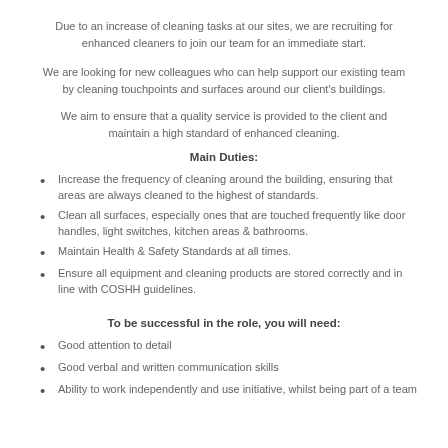Due to an increase of cleaning tasks at our sites, we are recruiting for enhanced cleaners to join our team for an immediate start.
We are looking for new colleagues who can help support our existing team by cleaning touchpoints and surfaces around our client's buildings.
We aim to ensure that a quality service is provided to the client and maintain a high standard of enhanced cleaning.
Main Duties:
Increase the frequency of cleaning around the building, ensuring that areas are always cleaned to the highest of standards.
Clean all surfaces, especially ones that are touched frequently like door handles, light switches, kitchen areas & bathrooms.
Maintain Health & Safety Standards at all times.
Ensure all equipment and cleaning products are stored correctly and in line with COSHH guidelines.
To be successful in the role, you will need:
Good attention to detail
Good verbal and written communication skills
Ability to work independently and use initiative, whilst being part of a team